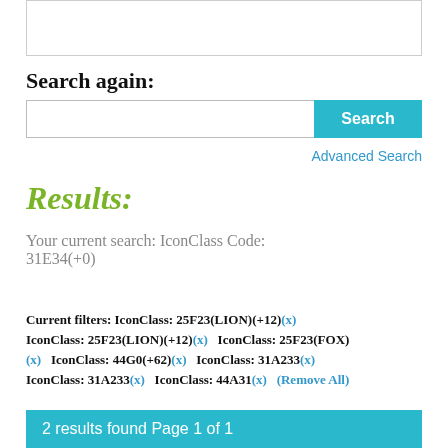[Figure (screenshot): Top portion of a web page search box (partially visible)]
Search again:
[Figure (screenshot): Search input field with Search button and Advanced Search link]
Results:
Your current search: IconClass Code: 31E34(+0)
Current filters: IconClass: 25F23(LION)(+12)(x) IconClass: 25F23(LION)(+12)(x)   IconClass: 25F23(FOX)(x)   IconClass: 44G0(+62)(x)   IconClass: 31A233(x) IconClass: 31A233(x)   IconClass: 44A31(x)   (Remove All)
2 results found Page 1 of 1